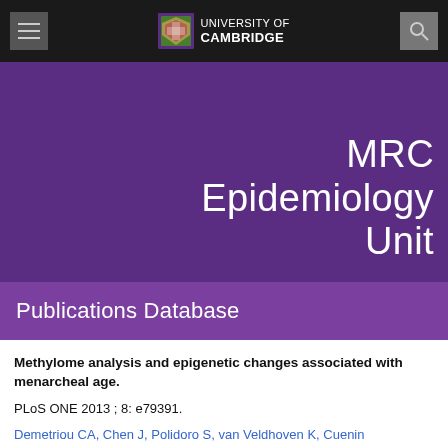University of Cambridge — MRC Epidemiology Unit
MRC Epidemiology Unit
Publications Database
Methylome analysis and epigenetic changes associated with menarcheal age.
PLoS ONE 2013 ; 8: e79391.
Demetriou CA, Chen J, Polidoro S, van Veldhoven K, Cuenin